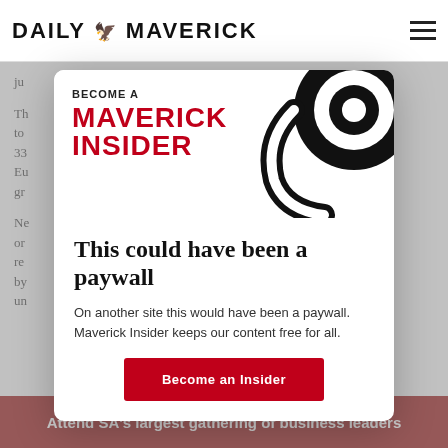DAILY MAVERICK
ju... Th... to... 33... Eu... gr...
[Figure (logo): Become a Maverick Insider promotional modal with spiral graphic, headline 'This could have been a paywall', subtext, and call-to-action button]
This could have been a paywall
On another site this would have been a paywall. Maverick Insider keeps our content free for all.
Become an Insider
Attend SA's largest gathering of business leaders